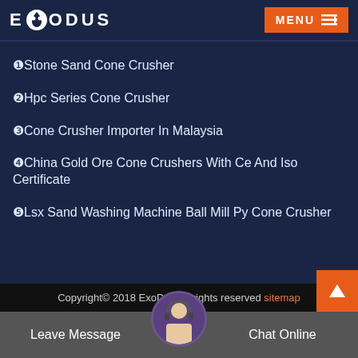EXODUS  MENU
❶Stone Sand Cone Crusher
❷Hpc Series Cone Crusher
❸Cone Crusher Importer In Malaysia
❹China Gold Ore Cone Crushers With Ce And Iso Certificate
❺Lsx Sand Washing Machine Ball Mill Py Cone Crusher
Copyright© 2018 ExoDus.All rights reserved sitemap    Leave Message    Chat Online